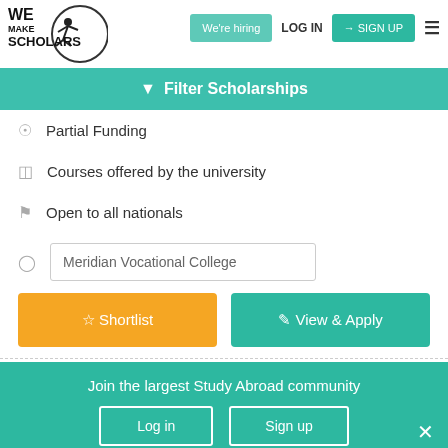[Figure (logo): We Make Scholars logo with circular emblem and acrobat figure]
We're hiring
LOG IN
SIGN UP
Filter Scholarships
Partial Funding
Courses offered by the university
Open to all nationals
Meridian Vocational College
Shortlist
View & Apply
Join the largest Study Abroad community
Log in
Sign up